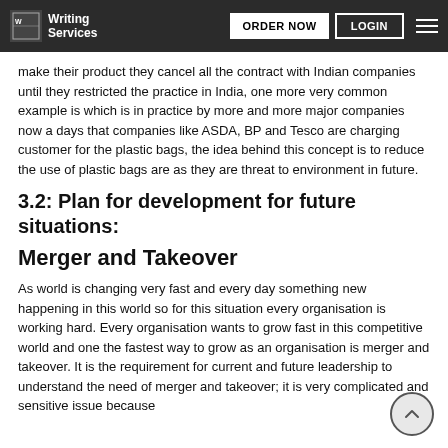Writing Services | ORDER NOW | LOGIN
make their product they cancel all the contract with Indian companies until they restricted the practice in India, one more very common example is which is in practice by more and more major companies now a days that companies like ASDA, BP and Tesco are charging customer for the plastic bags, the idea behind this concept is to reduce the use of plastic bags are as they are threat to environment in future.
3.2: Plan for development for future situations:
Merger and Takeover
As world is changing very fast and every day something new happening in this world so for this situation every organisation is working hard. Every organisation wants to grow fast in this competitive world and one the fastest way to grow as an organisation is merger and takeover. It is the requirement for current and future leadership to understand the need of merger and takeover; it is very complicated and sensitive issue because